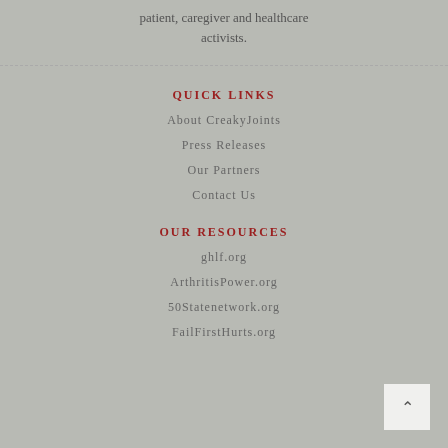patient, caregiver and healthcare activists.
QUICK LINKS
About CreakyJoints
Press Releases
Our Partners
Contact Us
OUR RESOURCES
ghlf.org
ArthritisPower.org
50Statenetwork.org
FailFirstHurts.org